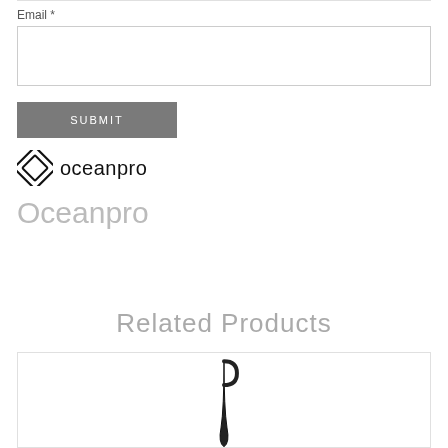Email *
[Figure (screenshot): Empty email input text field with border]
SUBMIT
[Figure (logo): Oceanpro logo — diamond/square rotated icon with 'oceanpro' text beside it in black]
Oceanpro
Related Products
[Figure (photo): Product image showing a dark curved hook-like object on white background]